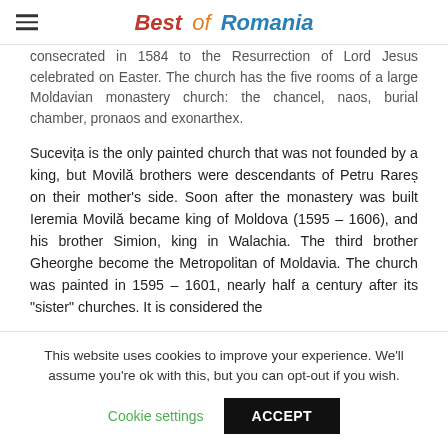Best of Romania
consecrated in 1584 to the Resurrection of Lord Jesus celebrated on Easter. The church has the five rooms of a large Moldavian monastery church: the chancel, naos, burial chamber, pronaos and exonarthex.
Sucevița is the only painted church that was not founded by a king, but Movilă brothers were descendants of Petru Rareș on their mother's side. Soon after the monastery was built Ieremia Movilă became king of Moldova (1595 – 1606), and his brother Simion, king in Walachia. The third brother Gheorghe become the Metropolitan of Moldavia. The church was painted in 1595 – 1601, nearly half a century after its "sister" churches. It is considered the
This website uses cookies to improve your experience. We'll assume you're ok with this, but you can opt-out if you wish.
Cookie settings   ACCEPT